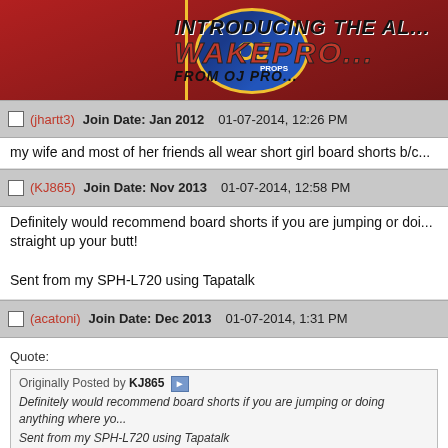[Figure (illustration): OJ Props wakeboard advertisement banner — red background with 'INTRODUCING THE AL...' text, 'WAKEPRO...' in large red letters, 'FROM OJ PRO...' text, and OJ Props logo on left side]
(jhartt3)  Join Date: Jan 2012   01-07-2014, 12:26 PM
my wife and most of her friends all wear short girl board shorts b/c...
(KJ865)  Join Date: Nov 2013   01-07-2014, 12:58 PM
Definitely would recommend board shorts if you are jumping or doi... straight up your butt!

Sent from my SPH-L720 using Tapatalk
(acatoni)  Join Date: Dec 2013   01-07-2014, 1:31 PM
Quote:
Originally Posted by KJ865
Definitely would recommend board shorts if you are jumping or doing anything where yo...
Sent from my SPH-L720 using Tapatalk

If that wasnt the case, would you like to wear regular bathing suit b... "look good" for the dudes, chicks would want to wear the bottoms,...
(KJ865)  Join Date: Nov 2013   01-07-2014, 1:47 PM
I like the boardshorts. They are comfortable and practical. I'm not t... that's what girls are looking to do then there is plenty of tim...